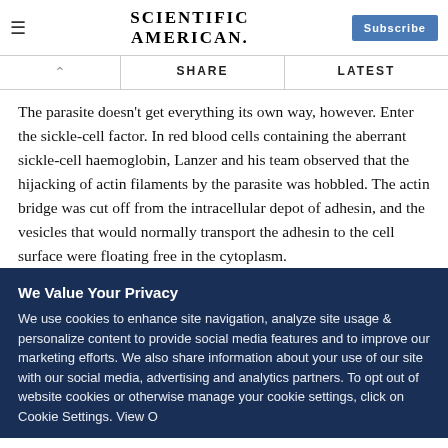SCIENTIFIC AMERICAN
The parasite doesn't get everything its own way, however. Enter the sickle-cell factor. In red blood cells containing the aberrant sickle-cell haemoglobin, Lanzer and his team observed that the hijacking of actin filaments by the parasite was hobbled. The actin bridge was cut off from the intracellular depot of adhesin, and the vesicles that would normally transport the adhesin to the cell surface were floating free in the cytoplasm.
We Value Your Privacy
We use cookies to enhance site navigation, analyze site usage & personalize content to provide social media features and to improve our marketing efforts. We also share information about your use of our site with our social media, advertising and analytics partners. To opt out of website cookies or otherwise manage your cookie settings, click on Cookie Settings. View O